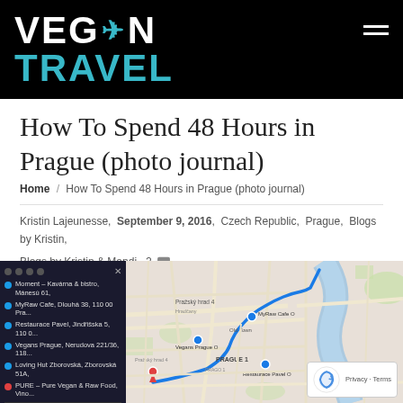VEGAN TRAVEL
How To Spend 48 Hours in Prague (photo journal)
Home / How To Spend 48 Hours in Prague (photo journal)
Kristin Lajeunesse, September 9, 2016, Czech Republic, Prague, Blogs by Kristin, Blogs by Kristin & Mandi, 2
[Figure (map): Google Maps directions screenshot showing a route through Prague with a list of vegan restaurant stops on the left panel and a map view on the right showing the route through Prague 1 area.]